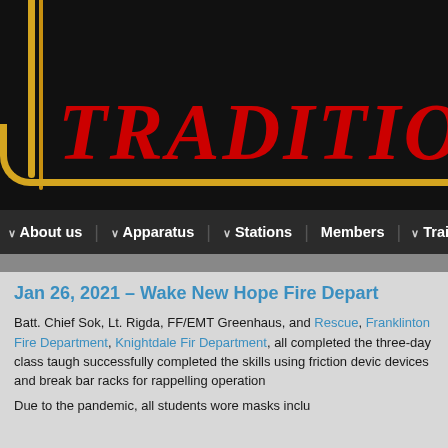[Figure (screenshot): Black header banner with gold/yellow left border lines and large red italic text reading 'TRADITIO' (truncated by page edge), on a dark background.]
∨ About us   ∨ Apparatus   ∨ Stations   Members   ∨ Trai
Jan 26, 2021 – Wake New Hope Fire Depart
Batt. Chief Sok, Lt. Rigda, FF/EMT Greenhaus, and ... Rescue, Franklinton Fire Department, Knightdale Fire Department, all completed the three-day class taught ... successfully completed the skills using friction devices and break bar racks for rappelling operations.
Due to the pandemic, all students wore masks inclu...